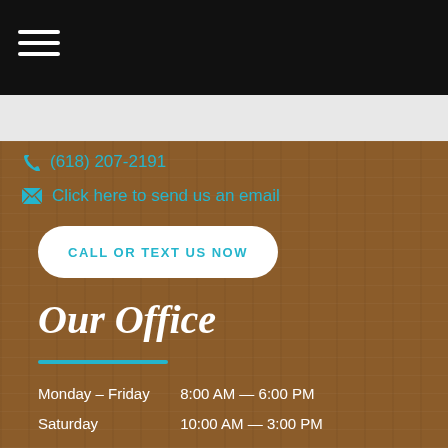Navigation menu (hamburger icon)
(618) 207-2191
Click here to send us an email
CALL OR TEXT US NOW
Our Office
Monday – Friday   8:00 AM — 6:00 PM
Saturday   10:00 AM — 3:00 PM